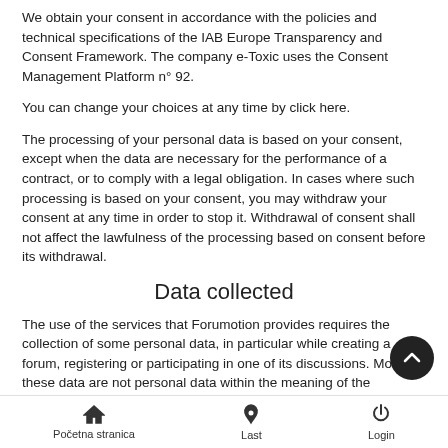We obtain your consent in accordance with the policies and technical specifications of the IAB Europe Transparency and Consent Framework. The company e-Toxic uses the Consent Management Platform n° 92.
You can change your choices at any time by click here.
The processing of your personal data is based on your consent, except when the data are necessary for the performance of a contract, or to comply with a legal obligation. In cases where such processing is based on your consent, you may withdraw your consent at any time in order to stop it. Withdrawal of consent shall not affect the lawfulness of the processing based on consent before its withdrawal.
Data collected
The use of the services that Forumotion provides requires the collection of some personal data, in particular while creating a forum, registering or participating in one of its discussions. Most of these data are not personal data within the meaning of the regulation (UE) 2016/679, so-called General Data Protection
Početna stranica    Last    Login